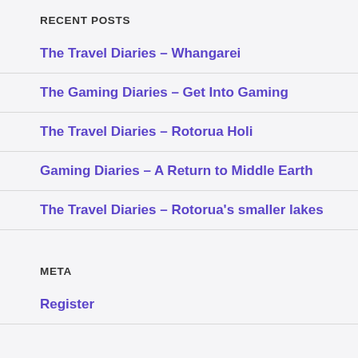RECENT POSTS
The Travel Diaries – Whangarei
The Gaming Diaries – Get Into Gaming
The Travel Diaries – Rotorua Holi
Gaming Diaries – A Return to Middle Earth
The Travel Diaries – Rotorua's smaller lakes
META
Register